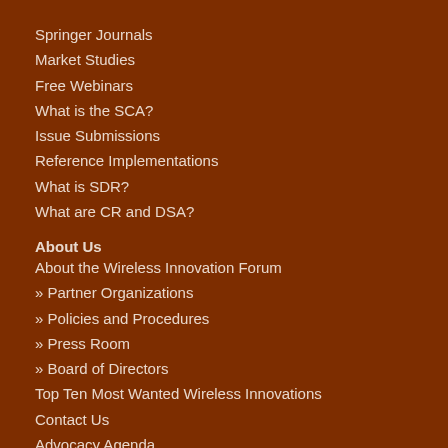Springer Journals
Market Studies
Free Webinars
What is the SCA?
Issue Submissions
Reference Implementations
What is SDR?
What are CR and DSA?
About Us
About the Wireless Innovation Forum
» Partner Organizations
» Policies and Procedures
» Press Room
» Board of Directors
Top Ten Most Wanted Wireless Innovations
Contact Us
Advocacy Agenda
Current Members
Achievement Awards
Standards Development Model
Become a Sponsor
Setting the Standard Video Blog
Events